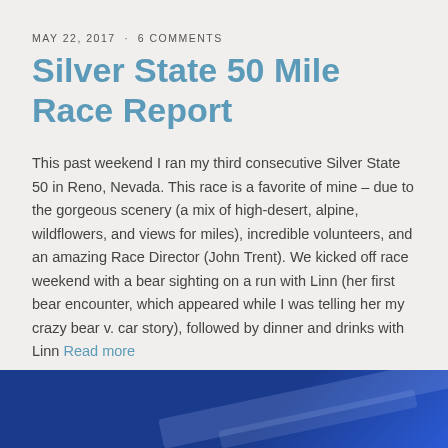MAY 22, 2017 · 6 COMMENTS
Silver State 50 Mile Race Report
This past weekend I ran my third consecutive Silver State 50 in Reno, Nevada. This race is a favorite of mine – due to the gorgeous scenery (a mix of high-desert, alpine, wildflowers, and views for miles), incredible volunteers, and an amazing Race Director (John Trent). We kicked off race weekend with a bear sighting on a run with Linn (her first bear encounter, which appeared while I was telling her my crazy bear v. car story), followed by dinner and drinks with Linn Read more
[Figure (photo): Dark blue banner/background at bottom of page with diagonal light reflection streaks]